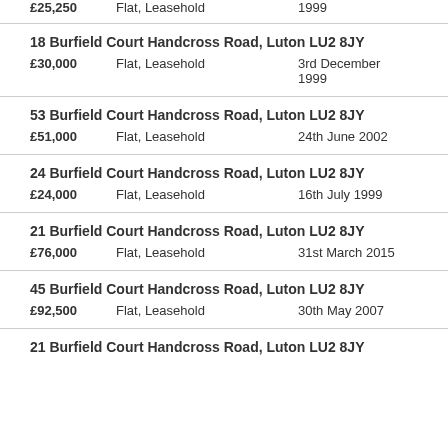£25,250   Flat, Leasehold   1999
18 Burfield Court Handcross Road, Luton LU2 8JY
£30,000   Flat, Leasehold   3rd December 1999
53 Burfield Court Handcross Road, Luton LU2 8JY
£51,000   Flat, Leasehold   24th June 2002
24 Burfield Court Handcross Road, Luton LU2 8JY
£24,000   Flat, Leasehold   16th July 1999
21 Burfield Court Handcross Road, Luton LU2 8JY
£76,000   Flat, Leasehold   31st March 2015
45 Burfield Court Handcross Road, Luton LU2 8JY
£92,500   Flat, Leasehold   30th May 2007
21 Burfield Court Handcross Road, Luton LU2 8JY